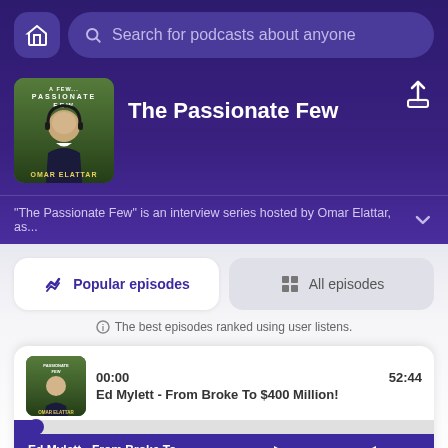Search for podcasts about anyone
The Passionate Few
"The Passionate Few" is an interview series hosted by Omar Elattar, as...
Popular episodes
All episodes
The best episodes ranked using user listens.
00:00
52:44
Ed Mylett - From Broke To $400 Million!